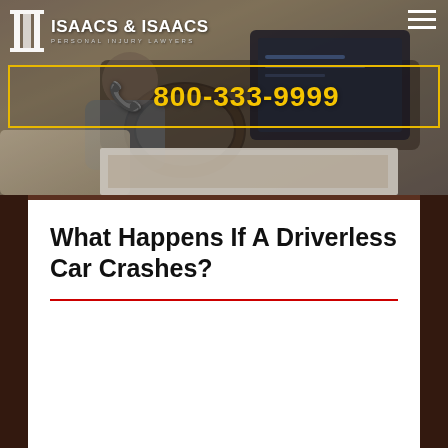[Figure (photo): Website header showing a person in an autonomous/driverless car interior with dashboard screens, overlaid with Isaacs & Isaacs Personal Injury Lawyers logo, a phone number banner reading 800-333-9999, and a hamburger menu icon]
What Happens If A Driverless Car Crashes?